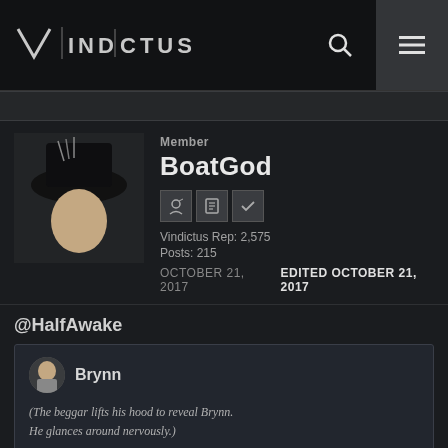[Figure (logo): Vindictus game logo in top left header with search and menu icons on the right]
Member
BoatGod
Vindictus Rep: 2,575
Posts: 215
OCTOBER 21, 2017   EDITED OCTOBER 21, 2017
@HalfAwake
Brynn
(The beggar lifts his hood to reveal Brynn.
He glances around nervously.)

Rocheste was completely empty when I arrived,
aside from the guards at the Pontiff's Court.
I am certain they are hiding something.
We have time while the guards change. Let's go!
just thought it was funny. The actual beggar isn't Brynn, but I